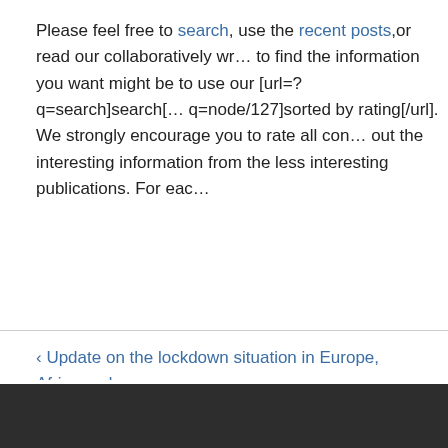Please feel free to search, use the recent posts,or read our collaboratively wr... to find the information you want might be to use our [url=?q=search]search[... q=node/127]sorted by rating[/url]. We strongly encourage you to rate all con... out the interesting information from the less interesting publications. For eac...
‹ Update on the lockdown situation in Europe, Africa and Australia from World Freedom Alliance